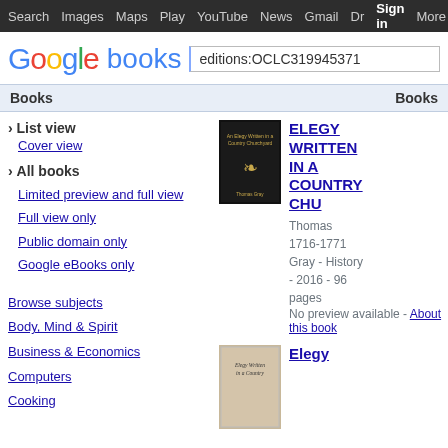Search  Images  Maps  Play  YouTube  News  Gmail  Drive  More  Sign In  ⚙
[Figure (logo): Google books logo with search box containing 'editions:OCLC319945371']
Books | Books
› List view
Cover view
› All books
Limited preview and full view
Full view only
Public domain only
Google eBooks only
Browse subjects
Body, Mind & Spirit
Business & Economics
Computers
Cooking
[Figure (photo): Black book cover with gold text and emblem for 'Elegy Written in a Country Churchyard']
ELEGY WRITTEN IN A COUNTRY CHU
Thomas 1716-1771 Gray - History - 2016 - 96 pages
No preview available - About this book
[Figure (photo): Tan/beige book cover for Elegy Written in a Country Churchyard]
Elegy